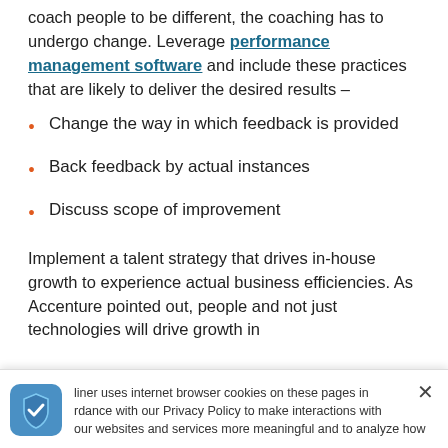coach people to be different, the coaching has to undergo change. Leverage performance management software and include these practices that are likely to deliver the desired results –
Change the way in which feedback is provided
Back feedback by actual instances
Discuss scope of improvement
Implement a talent strategy that drives in-house growth to experience actual business efficiencies. As Accenture pointed out, people and not just technologies will drive growth in
Miner uses internet browser cookies on these pages in accordance with our Privacy Policy to make interactions with our websites and services more meaningful and to analyze how